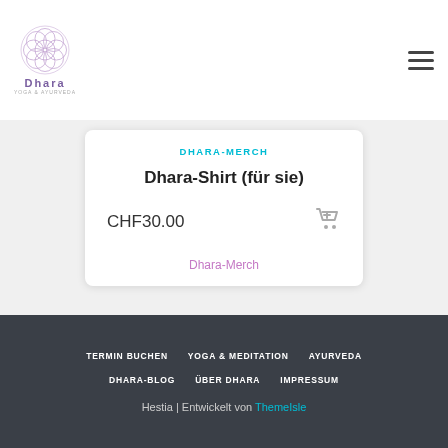[Figure (logo): Dhara Yoga & Ayurveda logo with circular mandala design and text]
DHARA-MERCH
Dhara-Shirt (für sie)
CHF30.00
Dhara-Merch
TERMIN BUCHEN
YOGA & MEDITATION
AYURVEDA
DHARA-BLOG
ÜBER DHARA
IMPRESSUM
Hestia | Entwickelt von ThemeIsle